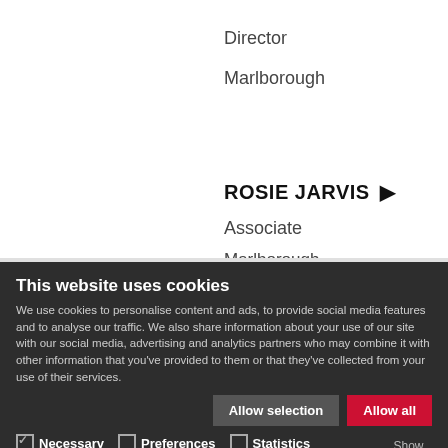Director
Marlborough
ROSIE JARVIS ▶
Associate
Marlborough
This website uses cookies
We use cookies to personalise content and ads, to provide social media features and to analyse our traffic. We also share information about your use of our site with our social media, advertising and analytics partners who may combine it with other information that you've provided to them or that they've collected from your use of their services.
Allow selection | Allow all
Necessary  Preferences  Statistics  Marketing  Show details